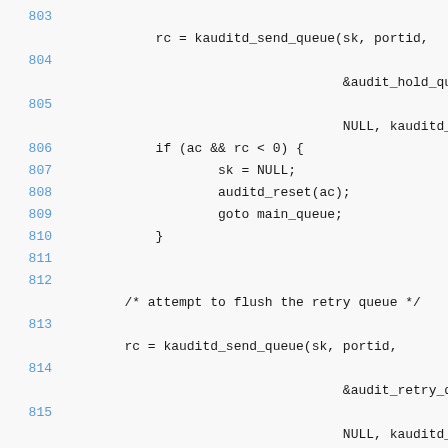Source code listing lines 803-820, C kernel audit code
803: (blank)
rc = kauditd_send_queue(sk, portid,
804: (blank)
&audit_hold_queue
805: (blank)
NULL, kauditd_re
806:             if (ac && rc < 0) {
807:                     sk = NULL;
808:                     auditd_reset(ac);
809:                     goto main_queue;
810:             }
811: (blank)
812:         /* attempt to flush the retry queue */
813: (blank)
rc = kauditd_send_queue(sk, portid,
814: (blank)
&audit_retry_que
815: (blank)
NULL, kauditd_ho
816:             if (ac && rc < 0) {
817:                     sk = NULL;
818:                     auditd_reset(ac);
819:                     goto main_queue;
820:             }